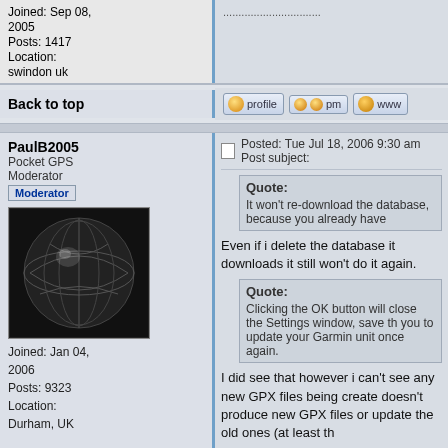Joined: Sep 08, 2005
Posts: 1417
Location: swindon uk
Back to top
PaulB2005
Pocket GPS Moderator
[Moderator badge]
Joined: Jan 04, 2006
Posts: 9323
Location: Durham, UK
Posted: Tue Jul 18, 2006 9:30 am    Post subject:
Quote:
It won't re-download the database, because you already have
Even if i delete the database it downloads it still won't do it again.
Quote:
Clicking the OK button will close the Settings window, save th you to update your Garmin unit once again.
I did see that however i can't see any new GPX files being create doesn't produce new GPX files or update the old ones (at least th
Perhaps i'm missing something but the first time i saw a databas the settings and deleted the database file but it never attempts to